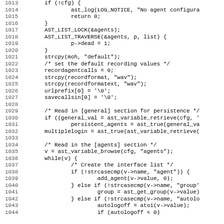[Figure (screenshot): Source code listing in monospace font showing C code lines 1013-1044, with line numbers on the left and code on the right. The code shows configuration loading logic including agent setup, recording values, and variable retrieval.]